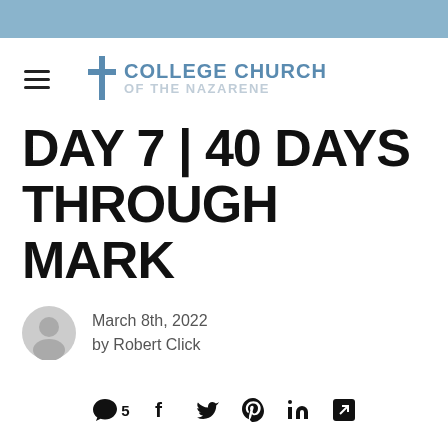[Figure (logo): College Church of the Nazarene logo with cross icon and two-line text]
DAY 7 | 40 DAYS THROUGH MARK
March 8th, 2022
by Robert Click
[Figure (infographic): Social sharing bar with comment count 5, Facebook, Twitter, Pinterest, LinkedIn, and share icons]